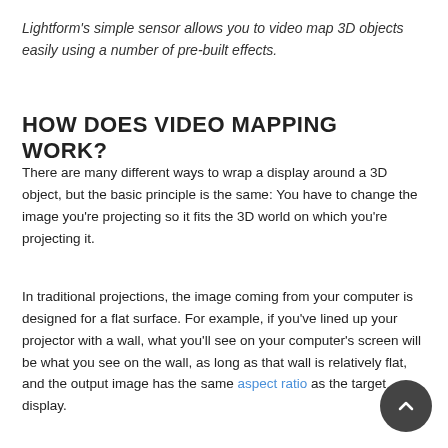Lightform's simple sensor allows you to video map 3D objects easily using a number of pre-built effects.
HOW DOES VIDEO MAPPING WORK?
There are many different ways to wrap a display around a 3D object, but the basic principle is the same: You have to change the image you're projecting so it fits the 3D world on which you're projecting it.
In traditional projections, the image coming from your computer is designed for a flat surface. For example, if you've lined up your projector with a wall, what you'll see on your computer's screen will be what you see on the wall, as long as that wall is relatively flat, and the output image has the same aspect ratio as the target display.
[Figure (other): Dark circular scroll-to-top button with upward chevron arrow, positioned at bottom right of page]